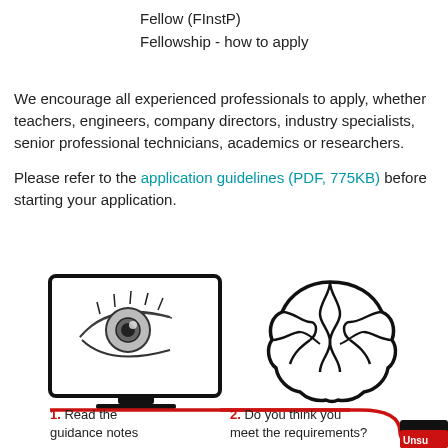Fellow (FInstP)
Fellowship - how to apply
We encourage all experienced professionals to apply, whether teachers, engineers, company directors, industry specialists, senior professional technicians, academics or researchers.
Please refer to the application guidelines (PDF, 775KB) before starting your application.
[Figure (infographic): Infographic showing steps for fellowship application. Step 1 shows an eye on a monitor screen (Read the guidance notes). Step 2 shows a brain icon (Do you think you meet the requirements?). A red curved line connects the steps. A partially visible third step shows a tablet/device icon with 'Unsu...' text.]
1. Read the guidance notes
2. Do you think you meet the requirements?